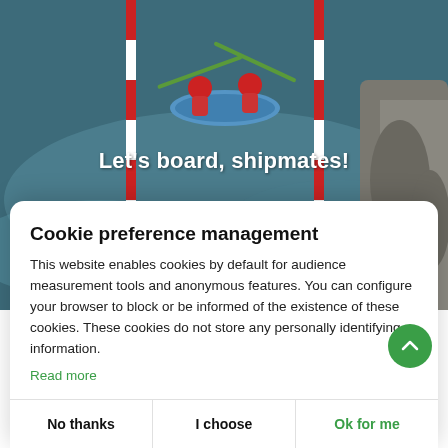[Figure (photo): Two people in red helmets and life vests paddling a blue kayak through whitewater rapids in a slalom course with red and white striped poles on either side. Rocky walls visible on the right.]
Let's board, shipmates!
Cookie preference management
This website enables cookies by default for audience measurement tools and anonymous features. You can configure your browser to block or be informed of the existence of these cookies. These cookies do not store any personally identifying information.
Read more
No thanks
I choose
Ok for me